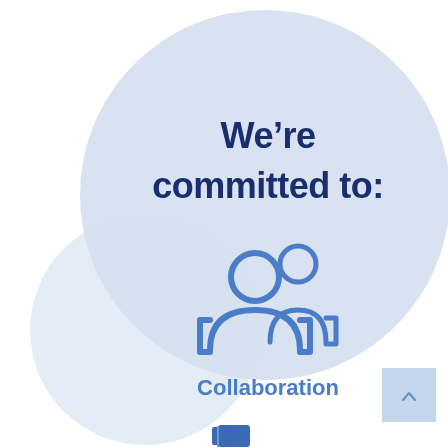[Figure (infographic): Infographic showing two overlapping light blue circles. The large circle on the right contains bold dark navy text 'We're committed to:'. Below the text is a blue icon of two people (collaboration icon), and below that the label 'Collaboration' in bold blue text. A smaller lighter blue circle overlaps from the lower left. A small light blue square is in the bottom right corner. At the very bottom center, a partial blue book icon is visible.]